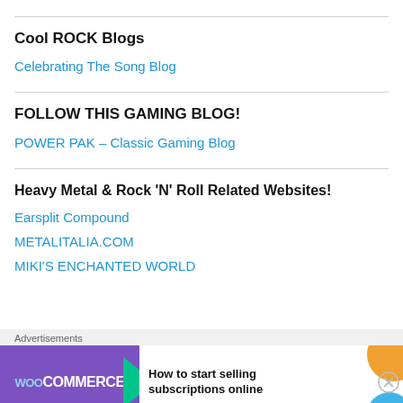Cool ROCK Blogs
Celebrating The Song Blog
FOLLOW THIS GAMING BLOG!
POWER PAK – Classic Gaming Blog
Heavy Metal & Rock 'N' Roll Related Websites!
Earsplit Compound
METALITALIA.COM
MIKI'S ENCHANTED WORLD
[Figure (screenshot): WooCommerce advertisement banner: 'How to start selling subscriptions online']